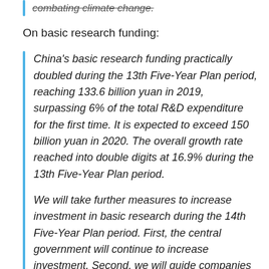combating climate change.
On basic research funding:
China's basic research funding practically doubled during the 13th Five-Year Plan period, reaching 133.6 billion yuan in 2019, surpassing 6% of the total R&D expenditure for the first time. It is expected to exceed 150 billion yuan in 2020. The overall growth rate reached into double digits at 16.9% during the 13th Five-Year Plan period.
We will take further measures to increase investment in basic research during the 14th Five-Year Plan period. First, the central government will continue to increase investment. Second, we will guide companies and society to invest more in it. In this regard, we will formulate some motivating